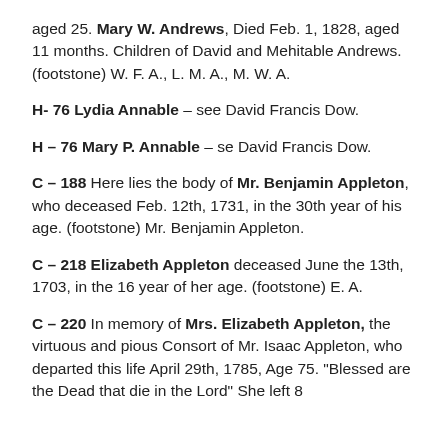aged 25. Mary W. Andrews, Died Feb. 1, 1828, aged 11 months. Children of David and Mehitable Andrews. (footstone) W. F. A., L. M. A., M. W. A.
H- 76 Lydia Annable – see David Francis Dow.
H – 76 Mary P. Annable – se David Francis Dow.
C – 188 Here lies the body of Mr. Benjamin Appleton, who deceased Feb. 12th, 1731, in the 30th year of his age. (footstone) Mr. Benjamin Appleton.
C – 218 Elizabeth Appleton deceased June the 13th, 1703, in the 16 year of her age. (footstone) E. A.
C – 220 In memory of Mrs. Elizabeth Appleton, the virtuous and pious Consort of Mr. Isaac Appleton, who departed this life April 29th, 1785, Age 75. "Blessed are the Dead that die in the Lord" She left 8